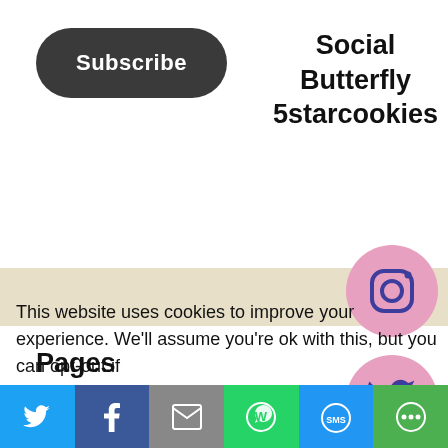[Figure (other): Dark rounded rectangle Subscribe button]
Social Butterfly 5starcookies
[Figure (other): Instagram pink circle icon]
Pages
[Figure (other): Twitter pink circle icon]
Baking School
Books Review
Children Corner
[Figure (other): Pinterest pink circle icon]
This website uses cookies to improve your experience. We'll assume you're ok with this, but you can opt-out if
[Figure (infographic): Bottom share bar with Twitter, Facebook, Email, WhatsApp, SMS, More buttons]